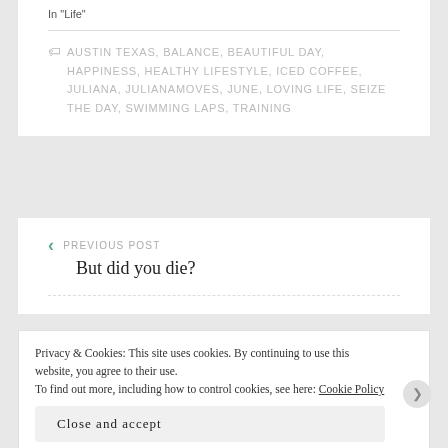In "Life"
AUSTIN TEXAS, BALANCE, BEAUTIFUL DAY, HAPPINESS, HEALTHY LIFESTYLE, ICED COFFEE, JULIANA, JULIANAMOVES, JUNE, LOVING LIFE, SEIZE THE DAY, SWIMMING LAPS, TRAINING
PREVIOUS POST
But did you die?
Privacy & Cookies: This site uses cookies. By continuing to use this website, you agree to their use.
To find out more, including how to control cookies, see here: Cookie Policy
Close and accept